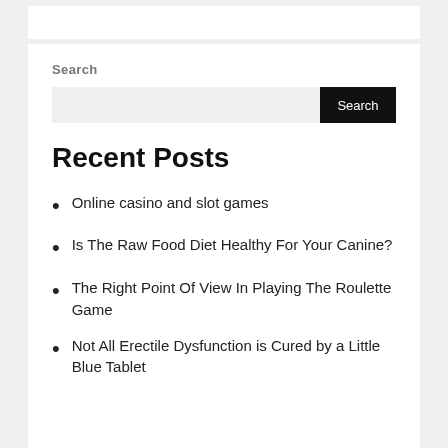Search
Search input and button
Recent Posts
Online casino and slot games
Is The Raw Food Diet Healthy For Your Canine?
The Right Point Of View In Playing The Roulette Game
Not All Erectile Dysfunction is Cured by a Little Blue Tablet